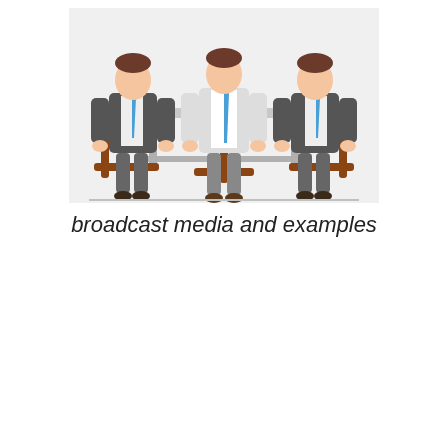[Figure (illustration): Flat-style illustration of three businessmen in suits sitting around a table for a meeting or interview. The central figure wears a white shirt and blue tie; the two flanking figures wear dark grey suits. They sit on brown wooden chairs at a light grey table.]
broadcast media and examples